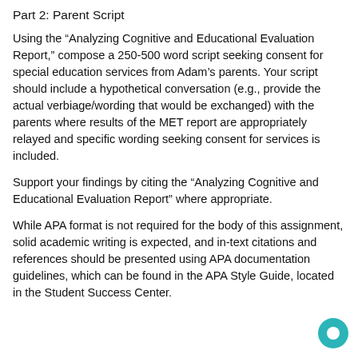Part 2: Parent Script
Using the “Analyzing Cognitive and Educational Evaluation Report,” compose a 250-500 word script seeking consent for special education services from Adam’s parents. Your script should include a hypothetical conversation (e.g., provide the actual verbiage/wording that would be exchanged) with the parents where results of the MET report are appropriately relayed and specific wording seeking consent for services is included.
Support your findings by citing the “Analyzing Cognitive and Educational Evaluation Report” where appropriate.
While APA format is not required for the body of this assignment, solid academic writing is expected, and in-text citations and references should be presented using APA documentation guidelines, which can be found in the APA Style Guide, located in the Student Success Center.